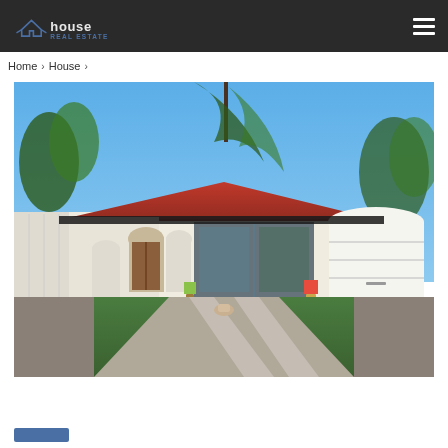house REAL ESTATE
Home › House ›
[Figure (photo): Exterior photo of a single-story house with red tile roof, white walls, arched entrance, garage door, green lawn, blue sky with trees in background.]
HOUSE